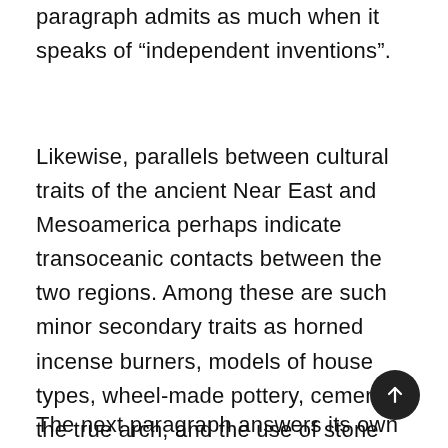paragraph admits as much when it speaks of “independent inventions”.
Likewise, parallels between cultural traits of the ancient Near East and Mesoamerica perhaps indicate transoceanic contacts between the two regions. Among these are such minor secondary traits as horned incense burners, models of house types, wheel-made pottery, cement, the true arch, and the use of stone boxes. All of these may, however, represent independent inventions.
The next paragraph answers its own